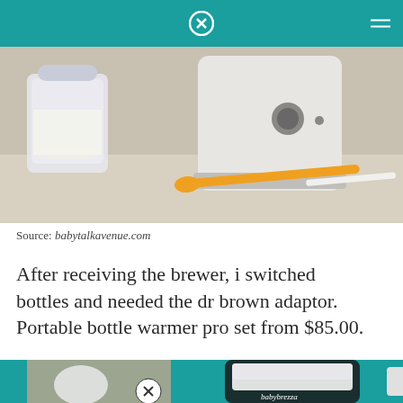[Figure (photo): A white bottle warmer appliance on a countertop, with a container of milk/formula beside it and an orange and white spoon in front.]
Source: babytalkavenue.com
After receiving the brewer, i switched bottles and needed the dr brown adaptor. Portable bottle warmer pro set from $85.00.
[Figure (photo): A hand holding a baby bottle nipple/cap near a Baby Brezza bottle warmer with a teal background.]